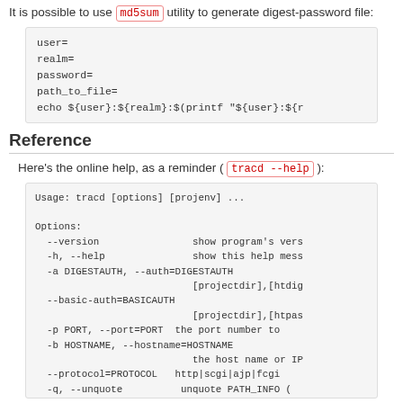It is possible to use md5sum utility to generate digest-password file:
user=
realm=
password=
path_to_file=
echo ${user}:${realm}:$(printf "${user}:${r
Reference
Here's the online help, as a reminder ( tracd --help ):
Usage: tracd [options] [projenv] ...

Options:
  --version                show program's vers
  -h, --help               show this help mess
  -a DIGESTAUTH, --auth=DIGESTAUTH
                           [projectdir],[htdig
  --basic-auth=BASICAUTH
                           [projectdir],[htpas
  -p PORT, --port=PORT  the port number to
  -b HOSTNAME, --hostname=HOSTNAME
                           the host name or IP
  --protocol=PROTOCOL  http|scgi|ajp|fcgi
  -q, --unquote         unquote PATH_INFO (
  --http10              use HTTP/1.0 protoc
  --http11              use HTTP/1.1 protoc
  --PASSTHRED          ...use PASSTHRED